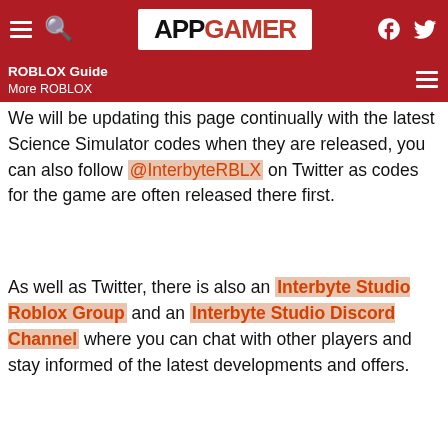APPGAMER
ROBLOX Guide | More ROBLOX
We will be updating this page continually with the latest Science Simulator codes when they are released, you can also follow @InterbyteRBLX on Twitter as codes for the game are often released there first.
As well as Twitter, there is also an Interbyte Studio Roblox Group and an Interbyte Studio Discord Channel where you can chat with other players and stay informed of the latest developments and offers.